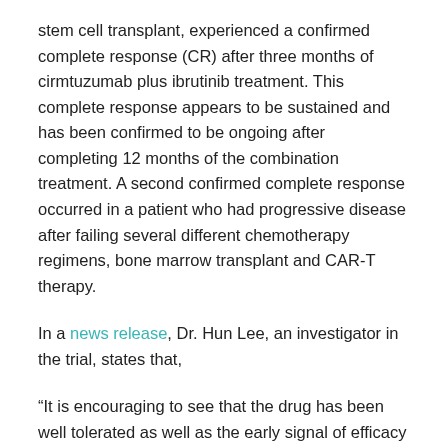stem cell transplant, experienced a confirmed complete response (CR) after three months of cirmtuzumab plus ibrutinib treatment. This complete response appears to be sustained and has been confirmed to be ongoing after completing 12 months of the combination treatment. A second confirmed complete response occurred in a patient who had progressive disease after failing several different chemotherapy regimens, bone marrow transplant and CAR-T therapy.
In a news release, Dr. Hun Lee, an investigator in the trial, states that,
“It is encouraging to see that the drug has been well tolerated as well as the early signal of efficacy of cirmtuzumab with ibrutinib in MCL, particularly the rapid and durable complete responses of the heavily